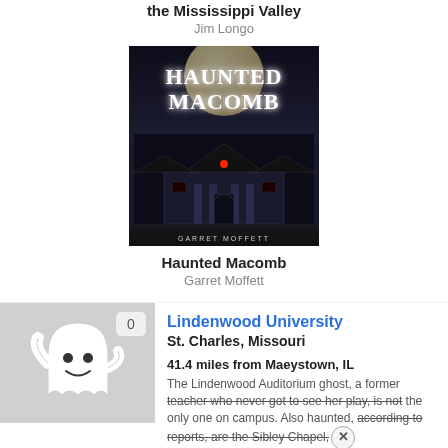the Mississippi Valley
Jim Longo
[Figure (photo): Book cover of 'Haunted Macomb' showing a haunted mansion under a full moon at night, with the author's name Garret Moffett at the bottom]
Haunted Macomb
Garret Moffett
[Figure (illustration): Ghost icon (friendly cartoon ghost) on a gray background with the number 0 badge in the upper right corner]
Lindenwood University
St. Charles, Missouri
41.4 miles from Maeystown, IL
The Lindenwood Auditorium ghost, a former teacher who never got to see her play, is not the only one on campus. Also haunted, according to reports, are the Sibley Chapel,